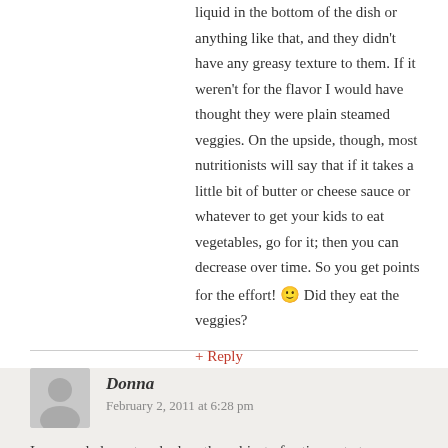liquid in the bottom of the dish or anything like that, and they didn't have any greasy texture to them. If it weren't for the flavor I would have thought they were plain steamed veggies. On the upside, though, most nutritionists will say that if it takes a little bit of butter or cheese sauce or whatever to get your kids to eat vegetables, go for it; then you can decrease over time. So you get points for the effort! 🙂 Did they eat the veggies?
+ Reply
Donna
February 2, 2011 at 6:28 pm
I am so glad you touched on the subject of eating out at restaurants–as a woman who hasn't had children yet, it's